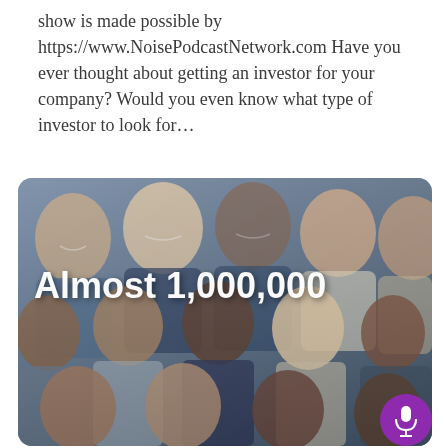show is made possible by https://www.NoisePodcastNetwork.com Have you ever thought about getting an investor for your company? Would you even know what type of investor to look for...
[Figure (photo): A diverse group of smiling people of different ages and ethnicities, with white bold text overlay reading 'Almost 1,000,000' and a purple microphone button in the bottom-right corner.]